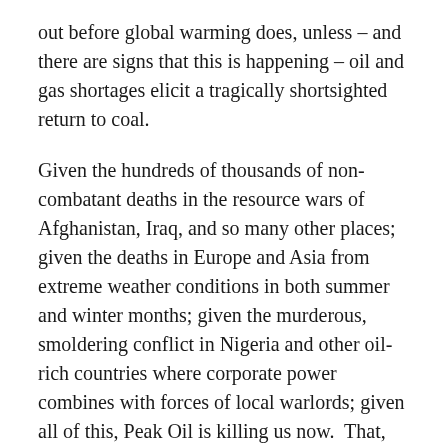out before global warming does, unless – and there are signs that this is happening – oil and gas shortages elicit a tragically shortsighted return to coal.
Given the hundreds of thousands of non-combatant deaths in the resource wars of Afghanistan, Iraq, and so many other places; given the deaths in Europe and Asia from extreme weather conditions in both summer and winter months; given the murderous, smoldering conflict in Nigeria and other oil-rich countries where corporate power combines with forces of local warlords; given all of this, Peak Oil is killing us now.  That, and the argument that these are the merest hints of what Peak Oil is going to bring, is the message of this book.